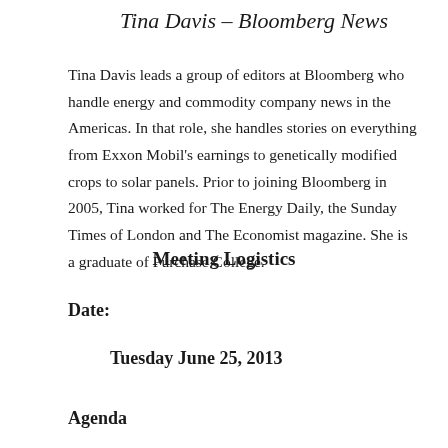Tina Davis – Bloomberg News
Tina Davis leads a group of editors at Bloomberg who handle energy and commodity company news in the Americas. In that role, she handles stories on everything from Exxon Mobil's earnings to genetically modified crops to solar panels. Prior to joining Bloomberg in 2005, Tina worked for The Energy Daily, the Sunday Times of London and The Economist magazine. She is a graduate of Purchase College.
Meeting Logistics
Date:
Tuesday June 25, 2013
Agenda